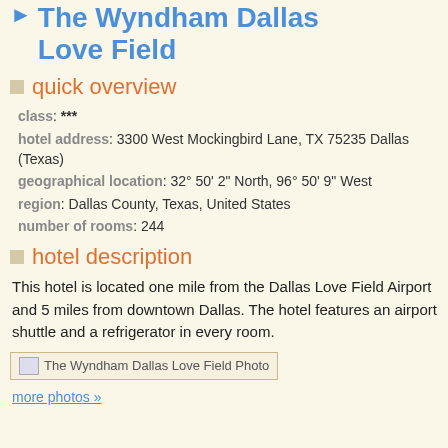The Wyndham Dallas Love Field
quick overview
class: ***
hotel address: 3300 West Mockingbird Lane, TX 75235 Dallas (Texas)
geographical location: 32° 50' 2" North, 96° 50' 9" West
region: Dallas County, Texas, United States
number of rooms: 244
hotel description
This hotel is located one mile from the Dallas Love Field Airport and 5 miles from downtown Dallas. The hotel features an airport shuttle and a refrigerator in every room.
[Figure (photo): The Wyndham Dallas Love Field Photo (broken image placeholder)]
more photos »